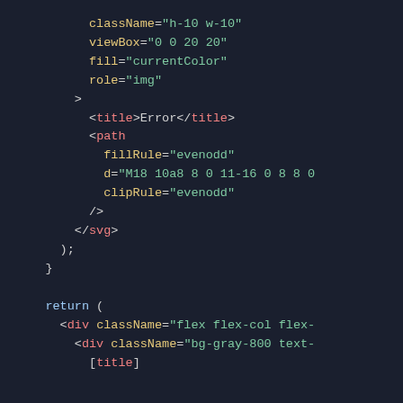[Figure (screenshot): Code editor screenshot showing JSX/SVG code with syntax highlighting on a dark background. Code includes SVG attributes (className, viewBox, fill, role), title element, path element with fillRule, d, clipRule attributes, closing svg tag, and a return statement with div elements.]